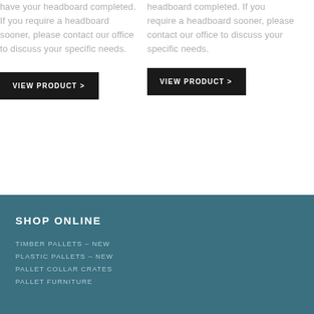have your headboard completed. If you require a headboard sooner, please contact our office to discuss your specific needs.
VIEW PRODUCT >
headboard completed. If you require a headboard sooner, please contact our office to discuss your specific needs.
VIEW PRODUCT >
SHOP ONLINE
TIMBER PALLETS – NEW
PLASTIC PALLETS – NEW
PALLET COLLAR CRATES
PALLET FURNITURE